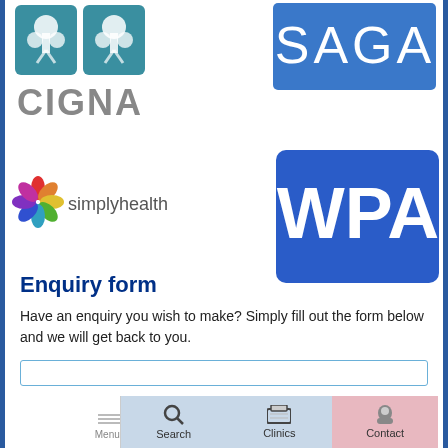[Figure (logo): CIGNA logo: two teal tree squares above grey CIGNA text]
[Figure (logo): SAGA logo: blue rectangle with white SAGA text]
[Figure (logo): simplyhealth logo: colourful swirl icon with grey simplyhealth text]
[Figure (logo): WPA logo: blue rounded rectangle with white WPA text]
Enquiry form
Have an enquiry you wish to make? Simply fill out the form below and we will get back to you.